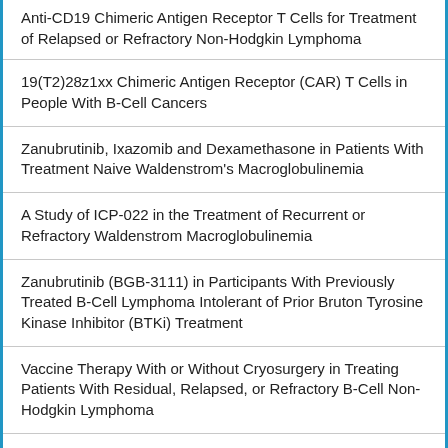Anti-CD19 Chimeric Antigen Receptor T Cells for Treatment of Relapsed or Refractory Non-Hodgkin Lymphoma
19(T2)28z1xx Chimeric Antigen Receptor (CAR) T Cells in People With B-Cell Cancers
Zanubrutinib, Ixazomib and Dexamethasone in Patients With Treatment Naive Waldenstrom's Macroglobulinemia
A Study of ICP-022 in the Treatment of Recurrent or Refractory Waldenstrom Macroglobulinemia
Zanubrutinib (BGB-3111) in Participants With Previously Treated B-Cell Lymphoma Intolerant of Prior Bruton Tyrosine Kinase Inhibitor (BTKi) Treatment
Vaccine Therapy With or Without Cryosurgery in Treating Patients With Residual, Relapsed, or Refractory B-Cell Non-Hodgkin Lymphoma
Cellular Immunotherapy Following Chemotherapy in Treating Patients With Recurrent Non-Hodgkin Lymphomas, Chronic Lymphocytic Leukemia or B-Cell Prolymphocytic Leukemia